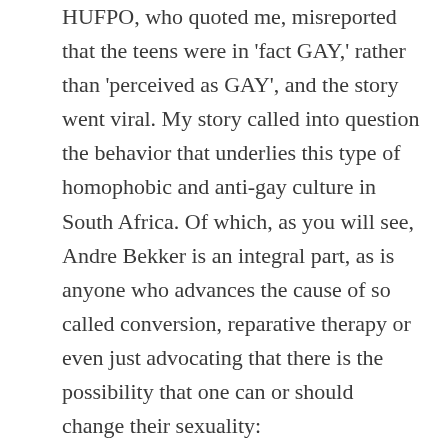HUFPO, who quoted me, misreported that the teens were in 'fact GAY,' rather than 'perceived as GAY', and the story went viral. My story called into question the behavior that underlies this type of homophobic and anti-gay culture in South Africa. Of which, as you will see, Andre Bekker is an integral part, as is anyone who advances the cause of so called conversion, reparative therapy or even just advocating that there is the possibility that one can or should change their sexuality:
Cohen, Doyle through hosting the pen of South African Bekker, it seems, have tried to extricate their movement from being tied to the camp of